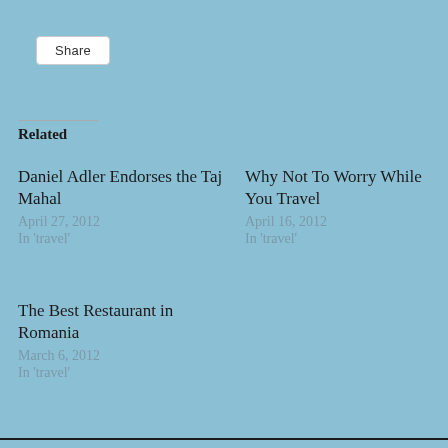Share
Related
Daniel Adler Endorses the Taj Mahal
April 27, 2012
In 'travel'
Why Not To Worry While You Travel
April 16, 2012
In 'travel'
The Best Restaurant in Romania
March 6, 2012
In 'travel'